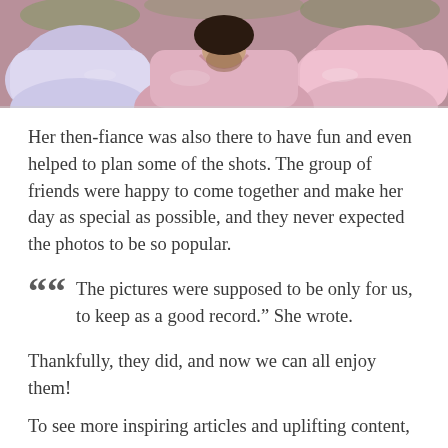[Figure (photo): Cropped photo showing people lying down wearing pink satin robes/outfits, visible from chest up, on a grass background]
Her then-fiance was also there to have fun and even helped to plan some of the shots. The group of friends were happy to come together and make her day as special as possible, and they never expected the photos to be so popular.
““ The pictures were supposed to be only for us, to keep as a good record.” She wrote.
Thankfully, they did, and now we can all enjoy them!
To see more inspiring articles and uplifting content,